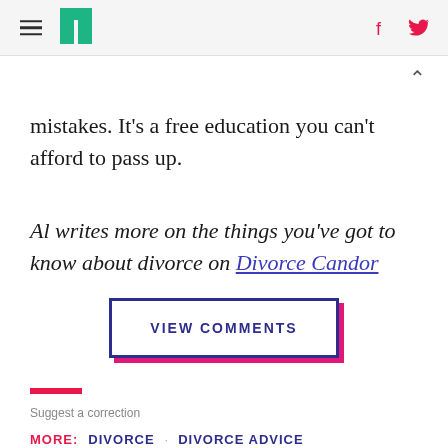[HuffPost logo and navigation header with hamburger menu and social icons]
mistakes. It's a free education you can't afford to pass up.
Al writes more on the things you've got to know about divorce on Divorce Candor
VIEW COMMENTS
Suggest a correction
MORE: DIVORCE DIVORCE ADVICE